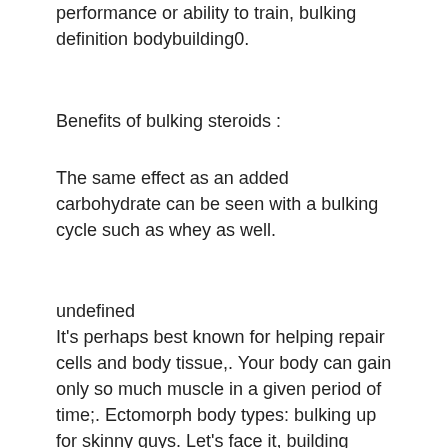performance or ability to train, bulking definition bodybuilding0.
Benefits of bulking steroids :
The same effect as an added carbohydrate can be seen with a bulking cycle such as whey as well.
undefined
It's perhaps best known for helping repair cells and body tissue,. Your body can gain only so much muscle in a given period of time;. Ectomorph body types: bulking up for skinny guys. Let's face it, building muscle is hard. You know what makes it even harder? being an ectomorph. — i'm eating a balanced diet and have seemingly been consuming maintenance calories for a while, as my body and weight haven't changed. Herein, the first molecular dynamics